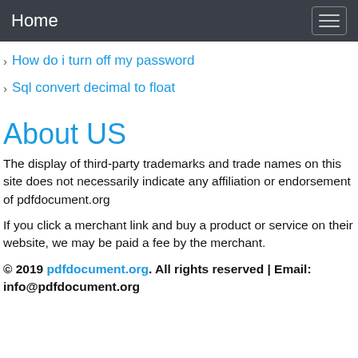Home
How do i turn off my password
Sql convert decimal to float
About US
The display of third-party trademarks and trade names on this site does not necessarily indicate any affiliation or endorsement of pdfdocument.org
If you click a merchant link and buy a product or service on their website, we may be paid a fee by the merchant.
© 2019 pdfdocument.org. All rights reserved | Email: info@pdfdocument.org